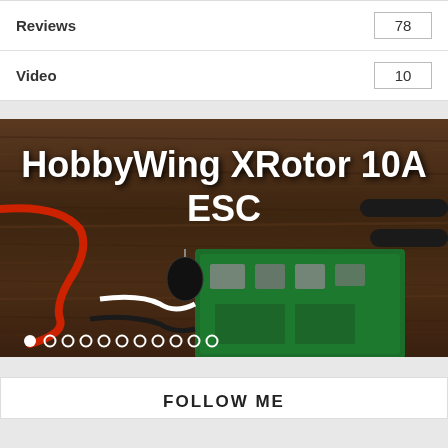| Category | Count |
| --- | --- |
| Reviews | 78 |
| Video | 10 |
[Figure (photo): Photo of HobbyWing XRotor 10A ESC circuit board on a wooden surface, with red and black wires. White bold text overlay reads 'HobbyWing XRotor 10A ESC'. Slideshow dots at the bottom.]
FOLLOW ME